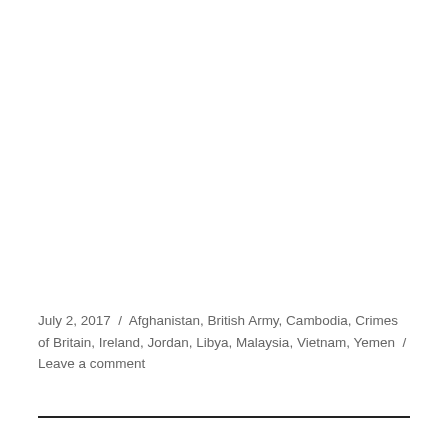July 2, 2017  /  Afghanistan, British Army, Cambodia, Crimes of Britain, Ireland, Jordan, Libya, Malaysia, Vietnam, Yemen  /  Leave a comment
---